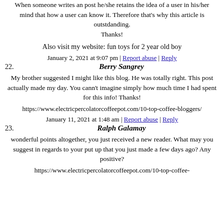When someone writes an post he/she retains the idea of a user in his/her mind that how a user can know it. Therefore that's why this article is outstdanding. Thanks!
Also visit my website: fun toys for 2 year old boy
January 2, 2021 at 9:07 pm | Report abuse | Reply
22. Berry Sangrey
My brother suggested I might like this blog. He was totally right. This post actually made my day. You cann't imagine simply how much time I had spent for this info! Thanks!
https://www.electricpercolatorcoffeepot.com/10-top-coffee-bloggers/
January 11, 2021 at 1:48 am | Report abuse | Reply
23. Ralph Galamay
wonderful points altogether, you just received a new reader. What may you suggest in regards to your put up that you just made a few days ago? Any positive?
https://www.electricpercolatorcoffeepot.com/10-top-coffee-